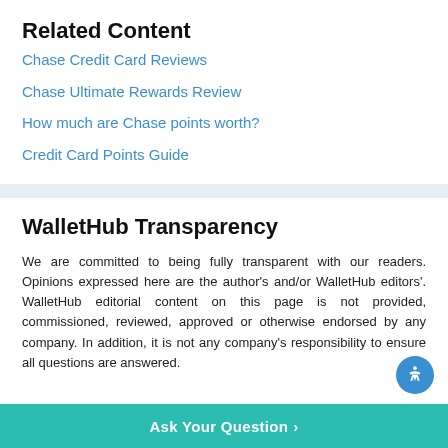Related Content
Chase Credit Card Reviews
Chase Ultimate Rewards Review
How much are Chase points worth?
Credit Card Points Guide
WalletHub Transparency
We are committed to being fully transparent with our readers. Opinions expressed here are the author's and/or WalletHub editors'. WalletHub editorial content on this page is not provided, commissioned, reviewed, approved or otherwise endorsed by any company. In addition, it is not any company's responsibility to ensure all questions are answered.
Ask Your Question >